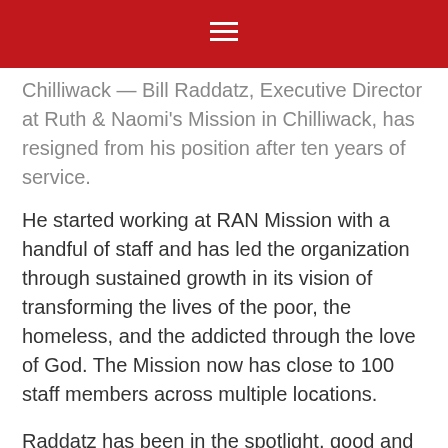Chilliwack — Bill Raddatz, Executive Director at Ruth & Naomi's Mission in Chilliwack, has resigned from his position after ten years of service.
He started working at RAN Mission with a handful of staff and has led the organization through sustained growth in its vision of transforming the lives of the poor, the homeless, and the addicted through the love of God. The Mission now has close to 100 staff members across multiple locations.
Raddatz has been in the spotlight, good and bad, for a number of years, including the operation of the contentious “Portal Shelter”.